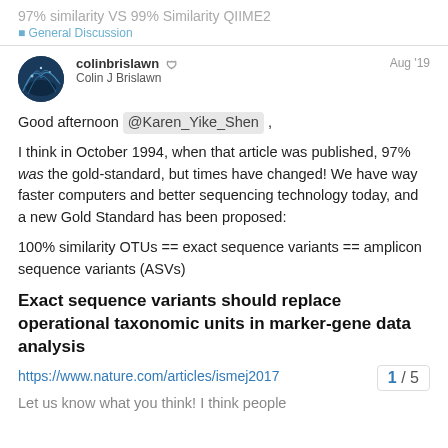97% similarity VS 99% Similarity QIIME2
Good afternoon @Karen_Yike_Shen ,
I think in October 1994, when that article was published, 97% was the gold-standard, but times have changed! We have way faster computers and better sequencing technology today, and a new Gold Standard has been proposed:
100% similarity OTUs == exact sequence variants == amplicon sequence variants (ASVs)
Exact sequence variants should replace operational taxonomic units in marker-gene data analysis
https://www.nature.com/articles/ismej2017
Let us know what you think! I think people